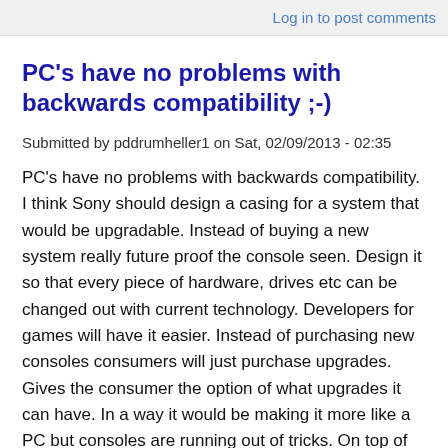Log in to post comments
PC's have no problems with backwards compatibility ;-)
Submitted by pddrumheller1 on Sat, 02/09/2013 - 02:35
PC's have no problems with backwards compatibility. I think Sony should design a casing for a system that would be upgradable. Instead of buying a new system really future proof the console seen. Design it so that every piece of hardware, drives etc can be changed out with current technology. Developers for games will have it easier. Instead of purchasing new consoles consumers will just purchase upgrades. Gives the consumer the option of what upgrades it can have. In a way it would be making it more like a PC but consoles are running out of tricks. On top of that. Allow the console to play PC games. WOW anyone? The Ps4 will have BC with PS3